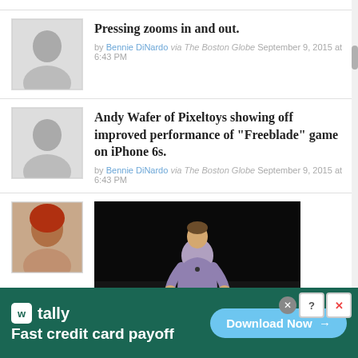Pressing zooms in and out.
by Bennie DiNardo via The Boston Globe September 9, 2015 at 6:43 PM
Andy Wafer of Pixeltoys showing off improved performance of "Freeblade" game on iPhone 6s.
by Bennie DiNardo via The Boston Globe September 9, 2015 at 6:43 PM
[Figure (photo): Screenshot of a video player showing a man in a light purple shirt speaking on a dark stage]
[Figure (screenshot): Tally app advertisement banner: 'Fast credit card payoff' with Download Now button]